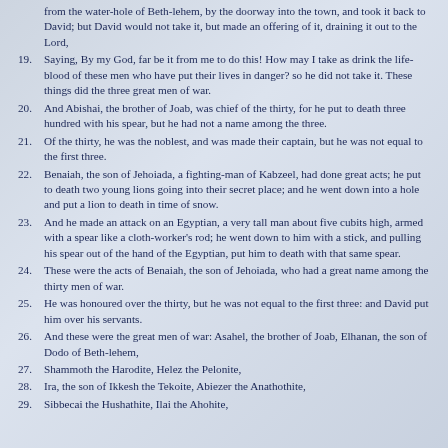(continuation) from the water-hole of Beth-lehem, by the doorway into the town, and took it back to David; but David would not take it, but made an offering of it, draining it out to the Lord,
19. Saying, By my God, far be it from me to do this! How may I take as drink the life-blood of these men who have put their lives in danger? so he did not take it. These things did the three great men of war.
20. And Abishai, the brother of Joab, was chief of the thirty, for he put to death three hundred with his spear, but he had not a name among the three.
21. Of the thirty, he was the noblest, and was made their captain, but he was not equal to the first three.
22. Benaiah, the son of Jehoiada, a fighting-man of Kabzeel, had done great acts; he put to death two young lions going into their secret place; and he went down into a hole and put a lion to death in time of snow.
23. And he made an attack on an Egyptian, a very tall man about five cubits high, armed with a spear like a cloth-worker's rod; he went down to him with a stick, and pulling his spear out of the hand of the Egyptian, put him to death with that same spear.
24. These were the acts of Benaiah, the son of Jehoiada, who had a great name among the thirty men of war.
25. He was honoured over the thirty, but he was not equal to the first three: and David put him over his servants.
26. And these were the great men of war: Asahel, the brother of Joab, Elhanan, the son of Dodo of Beth-lehem,
27. Shammoth the Harodite, Helez the Pelonite,
28. Ira, the son of Ikkesh the Tekoite, Abiezer the Anathothite,
29. Sibbecai the Hushathite, Ilai the Ahohite,